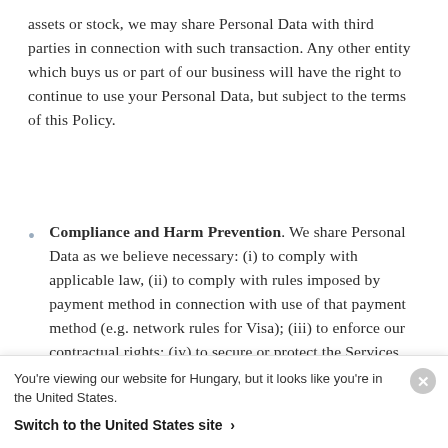assets or stock, we may share Personal Data with third parties in connection with such transaction. Any other entity which buys us or part of our business will have the right to continue to use your Personal Data, but subject to the terms of this Policy.
Compliance and Harm Prevention. We share Personal Data as we believe necessary: (i) to comply with applicable law, (ii) to comply with rules imposed by payment method in connection with use of that payment method (e.g. network rules for Visa); (iii) to enforce our contractual rights; (iv) to secure or protect the Services, rights, privacy,
You're viewing our website for Hungary, but it looks like you're in the United States.
Switch to the United States site ›
enforcement agencies, regulatory agencies, and